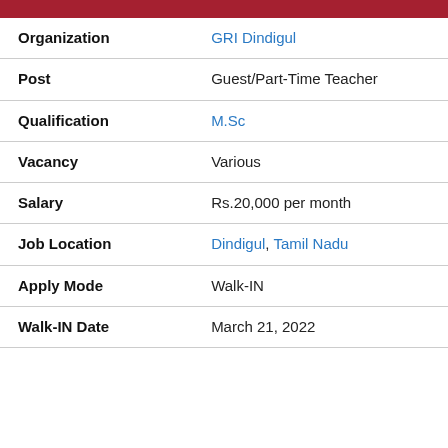| Field | Value |
| --- | --- |
| Organization | GRI Dindigul |
| Post | Guest/Part-Time Teacher |
| Qualification | M.Sc |
| Vacancy | Various |
| Salary | Rs.20,000 per month |
| Job Location | Dindigul, Tamil Nadu |
| Apply Mode | Walk-IN |
| Walk-IN Date | March 21, 2022 |